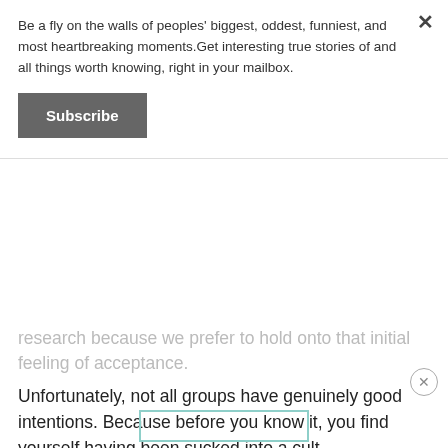Be a fly on the walls of peoples' biggest, oddest, funniest, and most heartbreaking moments.Get interesting true stories of and all things worth knowing, right in your mailbox.
Subscribe
research because we prefer to hold onto that initial feeling of acceptance.
Unfortunately, not all groups have genuinely good intentions. Because before you know it, you find yourself having been sucked into a cult.
Or maybe something that isn't but feels like one. But what is that exactly?